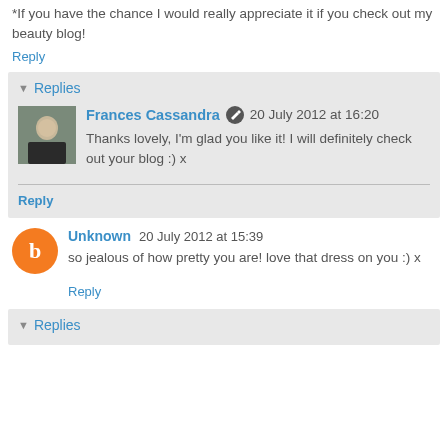*If you have the chance I would really appreciate it if you check out my beauty blog!
Reply
Replies
Frances Cassandra  20 July 2012 at 16:20
Thanks lovely, I'm glad you like it! I will definitely check out your blog :) x
Reply
Unknown  20 July 2012 at 15:39
so jealous of how pretty you are! love that dress on you :) x
Reply
Replies